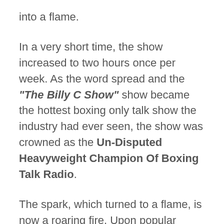into a flame.
In a very short time, the show increased to two hours once per week. As the word spread and the “The Billy C Show” show became the hottest boxing only talk show the industry had ever seen, the show was crowned as the Un-Disputed Heavyweight Champion Of Boxing Talk Radio.
The spark, which turned to a flame, is now a roaring fire. Upon popular demand, the show runs live, every day from 8:00-10:00am EST via the Internet on www.BillyCBoxing.com, It’s simulcast on FM & AM Radio Stations across the US and Canada. Talkin Boxing With Billy C was part of the Daily line up for the “Fight Now TV Network”, Fite TV, Holyfield TV,